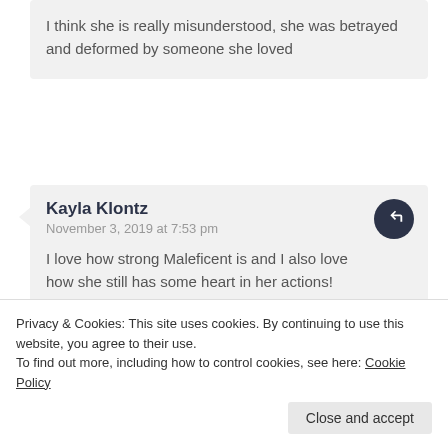I think she is really misunderstood, she was betrayed and deformed by someone she loved
Kayla Klontz
November 3, 2019 at 7:53 pm
I love how strong Maleficent is and I also love how she still has some heart in her actions!
Jenny Ham
November 4, 2019 at 10:42 pm
Privacy & Cookies: This site uses cookies. By continuing to use this website, you agree to their use.
To find out more, including how to control cookies, see here: Cookie Policy
Close and accept